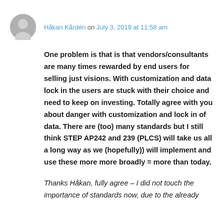Håkan Kårdén on July 3, 2019 at 11:58 am
One problem is that is that vendors/consultants are many times rewarded by end users for selling just visions. With customization and data lock in the users are stuck with their choice and need to keep on investing. Totally agree with you about danger with customization and lock in of data. There are (too) many standards but I still think STEP AP242 and 239 (PLCS) will take us all a long way as we (hopefully)) will implement and use these more more broadly = more than today.
Thanks Håkan, fully agree – I did not touch the importance of standards now, due to the already